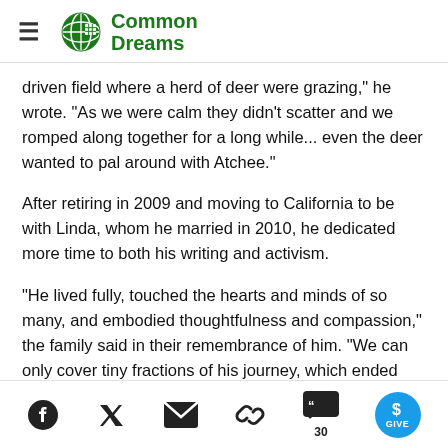Common Dreams
driven field where a herd of deer were grazing," he wrote. "As we were calm they didn't scatter and we romped along together for a long while... even the deer wanted to pal around with Atchee."
After retiring in 2009 and moving to California to be with Linda, whom he married in 2010, he dedicated more time to both his writing and activism.
"He lived fully, touched the hearts and minds of so many, and embodied thoughtfulness and compassion," the family said in their remembrance of him. "We can only cover tiny fractions of his journey, which ended much too soon."
Social share icons: Facebook, Twitter, Email, Link, Comments (30), Give